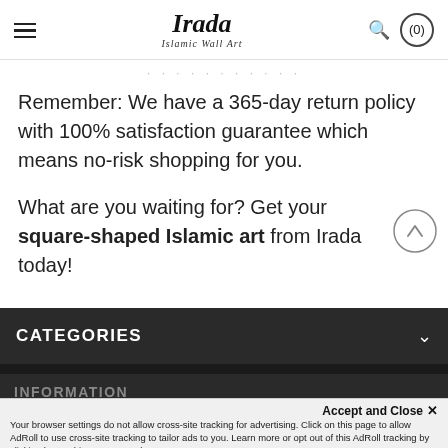Irada Islamic Wall Art
Remember: We have a 365-day return policy with 100% satisfaction guarantee which means no-risk shopping for you.
What are you waiting for? Get your square-shaped Islamic art from Irada today!
CATEGORIES
INFORMATION
Accept and Close ×
Your browser settings do not allow cross-site tracking for advertising. Click on this page to allow AdRoll to use cross-site tracking to tailor ads to you. Learn more or opt out of this AdRoll tracking by clicking here. This message only appears once.